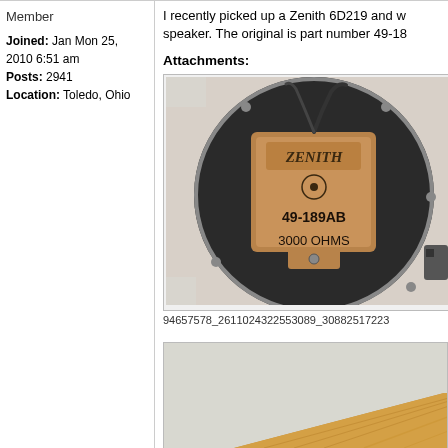Member
Joined: Jan Mon 25, 2010 6:51 am
Posts: 2941
Location: Toledo, Ohio
I recently picked up a Zenith 6D219 and w speaker. The original is part number 49-18
Attachments:
[Figure (photo): Rear view of a Zenith speaker showing a brown rectangular magnet assembly labeled 'ZENITH' with part number 49-189AB and impedance 3000 OHMS, mounted on a circular metal speaker frame.]
94657578_2611024322553089_30882517223
[Figure (photo): Partial view of a wooden surface, likely the front of the Zenith radio.]